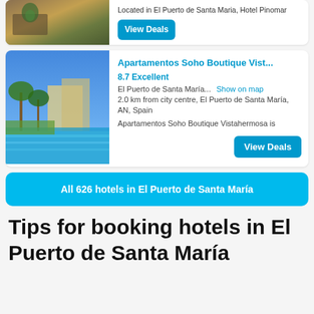[Figure (photo): Hotel Pinomar room photo showing a table with a plant, partially visible at top]
Located in El Puerto de Santa Maria, Hotel Pinomar
View Deals
[Figure (photo): Apartamentos Soho Boutique Vistahermosa exterior with palm trees and swimming pool]
Apartamentos Soho Boutique Vist...
8.7 Excellent
El Puerto de Santa María...
Show on map
2.0 km from city centre, El Puerto de Santa María, AN, Spain
Apartamentos Soho Boutique Vistahermosa is
View Deals
All 626 hotels in El Puerto de Santa María
Tips for booking hotels in El Puerto de Santa María